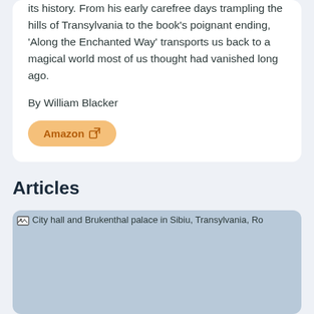its history. From his early carefree days trampling the hills of Transylvania to the book's poignant ending, 'Along the Enchanted Way' transports us back to a magical world most of us thought had vanished long ago.
By William Blacker
Amazon
Articles
[Figure (photo): City hall and Brukenthal palace in Sibiu, Transylvania, Romania — image placeholder with light blue-grey background]